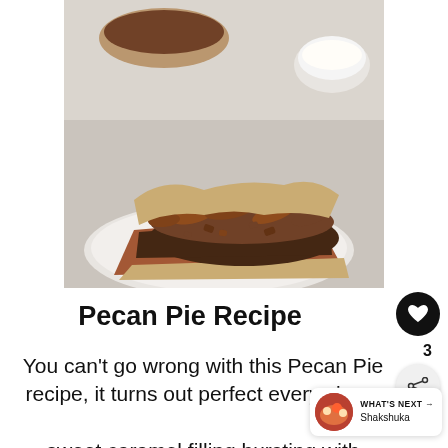[Figure (photo): A slice of pecan pie on a round white plate, showing a flaky crust with a dark caramel filling topped with whole and chopped pecans. Background shows another pie and a small white bowl of cream on a white surface.]
Pecan Pie Recipe
You can’t go wrong with this Pecan Pie recipe, it turns out perfect every sin sweet caramel filling bursting with pecans in a